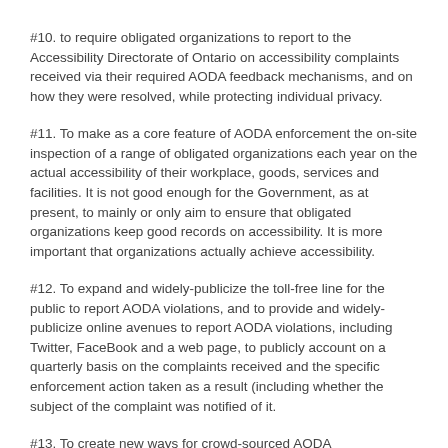#10. to require obligated organizations to report to the Accessibility Directorate of Ontario on accessibility complaints received via their required AODA feedback mechanisms, and on how they were resolved, while protecting individual privacy.
#11. To make as a core feature of AODA enforcement the on-site inspection of a range of obligated organizations each year on the actual accessibility of their workplace, goods, services and facilities. It is not good enough for the Government, as at present, to mainly or only aim to ensure that obligated organizations keep good records on accessibility. It is more important that organizations actually achieve accessibility.
#12. To expand and widely-publicize the toll-free line for the public to report AODA violations, and to provide and widely-publicize online avenues to report AODA violations, including Twitter, FaceBook and a web page, to publicly account on a quarterly basis on the complaints received and the specific enforcement action taken as a result (including whether the subject of the complaint was notified of it.
#13. To create new ways for crowd-sourced AODA monitoring/enforcement, such as the Government beginning to post all online AODA compliance reports from obligated organizations in a publicly-accessible searchable data base, and by requiring each obligated organization to post its AODA compliance report on its own website, if it has one.